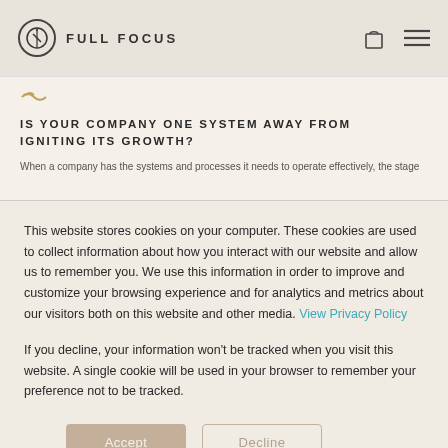FULL FOCUS
IS YOUR COMPANY ONE SYSTEM AWAY FROM IGNITING ITS GROWTH?
When a company has the systems and processes it needs to operate effectively, the stage
This website stores cookies on your computer. These cookies are used to collect information about how you interact with our website and allow us to remember you. We use this information in order to improve and customize your browsing experience and for analytics and metrics about our visitors both on this website and other media. View Privacy Policy
If you decline, your information won't be tracked when you visit this website. A single cookie will be used in your browser to remember your preference not to be tracked.